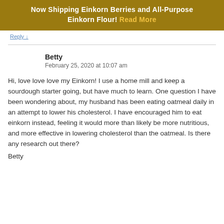Now Shipping Einkorn Berries and All-Purpose Einkorn Flour! Read More
Reply ↓
Betty
February 25, 2020 at 10:07 am
Hi, love love love my Einkorn! I use a home mill and keep a sourdough starter going, but have much to learn. One question I have been wondering about, my husband has been eating oatmeal daily in an attempt to lower his cholesterol. I have encouraged him to eat einkorn instead, feeling it would more than likely be more nutritious, and more effective in lowering cholesterol than the oatmeal. Is there any research out there?
Betty